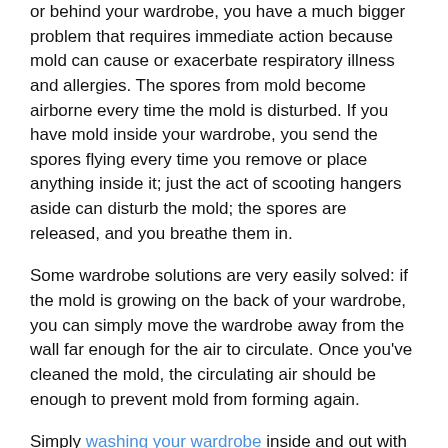or behind your wardrobe, you have a much bigger problem that requires immediate action because mold can cause or exacerbate respiratory illness and allergies. The spores from mold become airborne every time the mold is disturbed. If you have mold inside your wardrobe, you send the spores flying every time you remove or place anything inside it; just the act of scooting hangers aside can disturb the mold; the spores are released, and you breathe them in.
Some wardrobe solutions are very easily solved: if the mold is growing on the back of your wardrobe, you can simply move the wardrobe away from the wall far enough for the air to circulate. Once you've cleaned the mold, the circulating air should be enough to prevent mold from forming again.
Simply washing your wardrobe inside and out with a ammonia, vinegar or tea tree oil solution will eradicate the mold, but if you don't take steps to prevent mold, you will have to clean your wardrobe often. Mold, under the right conditions, can form in as little as 24 hours.
How Does It Get There And How Do I Get Rid Of It?
Mold loves humidity and warmth; it can grow on just about